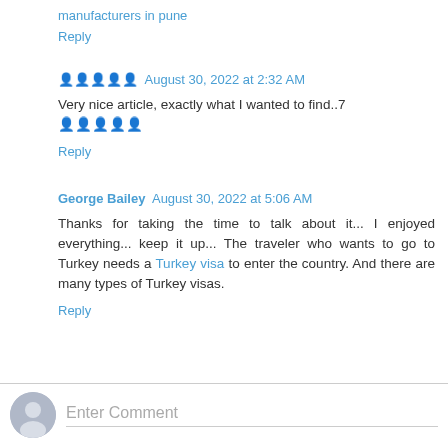manufacturers in pune
Reply
🗣️🗣️🗣️🗣️🗣️  August 30, 2022 at 2:32 AM
Very nice article, exactly what I wanted to find..7 🗣️🗣️🗣️🗣️🗣️
Reply
George Bailey  August 30, 2022 at 5:06 AM
Thanks for taking the time to talk about it... I enjoyed everything... keep it up... The traveler who wants to go to Turkey needs a Turkey visa to enter the country. And there are many types of Turkey visas.
Reply
Enter Comment